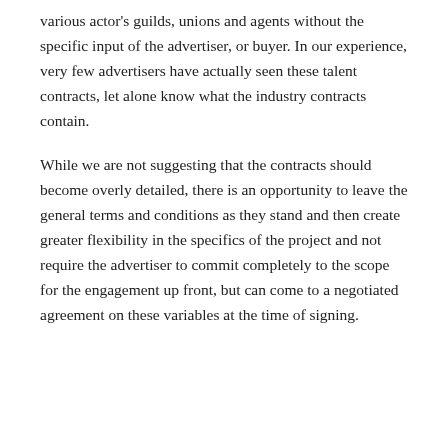various actor's guilds, unions and agents without the specific input of the advertiser, or buyer. In our experience, very few advertisers have actually seen these talent contracts, let alone know what the industry contracts contain.
While we are not suggesting that the contracts should become overly detailed, there is an opportunity to leave the general terms and conditions as they stand and then create greater flexibility in the specifics of the project and not require the advertiser to commit completely to the scope for the engagement up front, but can come to a negotiated agreement on these variables at the time of signing.